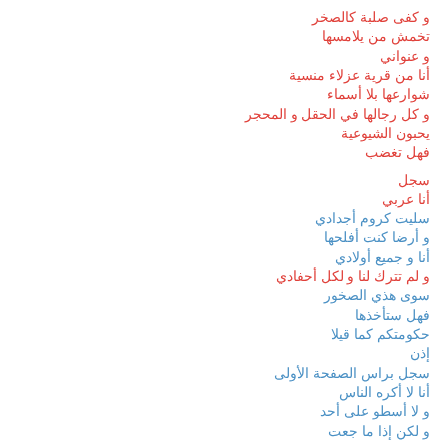و كفى صلبة كالصخر
تخمش من يلامسها
و عنواني
أنا من قرية عزلاء منسية
شوارعها بلا أسماء
و كل رجالها في الحقل و المحجر
يحبون الشيوعية
فهل تغضب

سجل
أنا عربي
سليت كروم أجدادي
و أرضا كنت أفلحها
أنا و جميع أولادي
و لم تترك لنا و لكل أحفادي
سوى هذي الصخور
فهل ستأخذها
حكومتكم كما قيلا
إذن
سجل براس الصفحة الأولى
أنا لا أكره الناس
و لا أسطو على أحد
و لكن إذا ما جعت